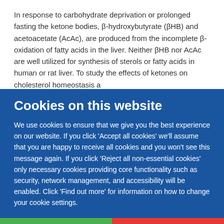In response to carbohydrate deprivation or prolonged fasting the ketone bodies, β-hydroxybutyrate (βHB) and acetoacetate (AcAc), are produced from the incomplete β-oxidation of fatty acids in the liver. Neither βHB nor AcAc are well utilized for synthesis of sterols or fatty acids in human or rat liver. To study the effects of ketones on cholesterol homeostasis a
Cookies on this website
We use cookies to ensure that we give you the best experience on our website. If you click 'Accept all cookies' we'll assume that you are happy to receive all cookies and you won't see this message again. If you click 'Reject all non-essential cookies' only necessary cookies providing core functionality such as security, network management, and accessibility will be enabled. Click 'Find out more' for information on how to change your cookie settings.